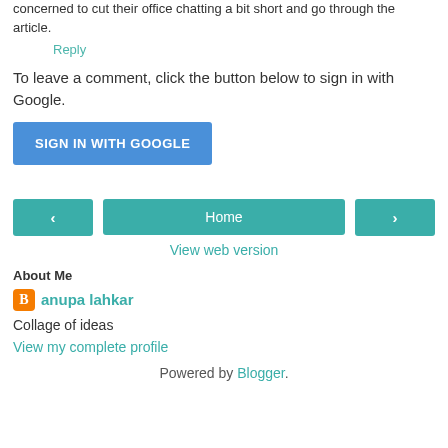concerned to cut their office chatting a bit short and go through the article.
Reply
To leave a comment, click the button below to sign in with Google.
SIGN IN WITH GOOGLE
< Home >
View web version
About Me
anupa lahkar
Collage of ideas
View my complete profile
Powered by Blogger.